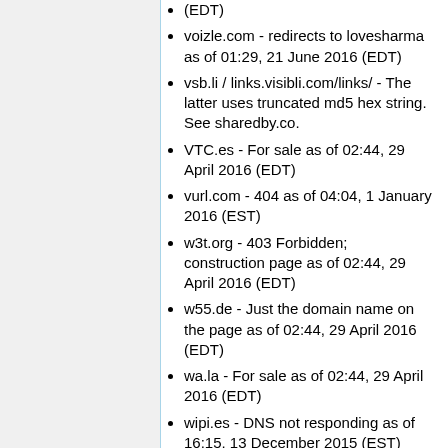(EDT)
voizle.com - redirects to lovesharma as of 01:29, 21 June 2016 (EDT)
vsb.li / links.visibli.com/links/ - The latter uses truncated md5 hex string. See sharedby.co.
VTC.es - For sale as of 02:44, 29 April 2016 (EDT)
vurl.com - 404 as of 04:04, 1 January 2016 (EST)
w3t.org - 403 Forbidden; construction page as of 02:44, 29 April 2016 (EDT)
w55.de - Just the domain name on the page as of 02:44, 29 April 2016 (EDT)
wa.la - For sale as of 02:44, 29 April 2016 (EDT)
wipi.es - DNS not responding as of 16:15, 13 December 2015 (EST)